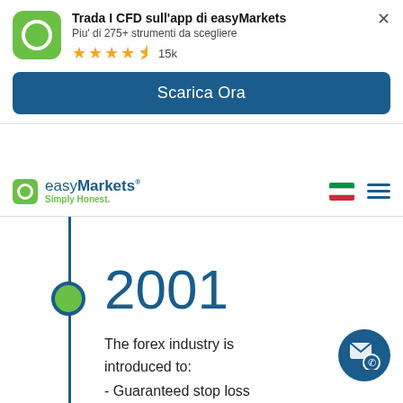Trada I CFD sull'app di easyMarkets
Piu' di 275+ strumenti da scegliere
★★★★½ 15k
Scarica Ora
[Figure (logo): easyMarkets logo with green rounded square icon, text 'easyMarkets Simply Honest.']
2001
The forex industry is introduced to:
- Guaranteed stop loss